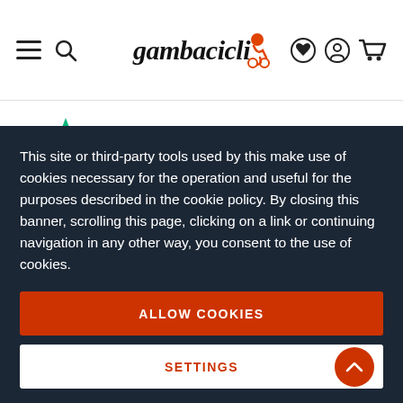gambacicli (navigation bar with hamburger menu, search, logo, wishlist, account, cart icons)
[Figure (logo): Trustpilot logo with green star and 'Trustpilot' wordmark in dark text, followed by a row of five green star rating boxes]
This site or third-party tools used by this make use of cookies necessary for the operation and useful for the purposes described in the cookie policy. By closing this banner, scrolling this page, clicking on a link or continuing navigation in any other way, you consent to the use of cookies.
ALLOW COOKIES
SETTINGS